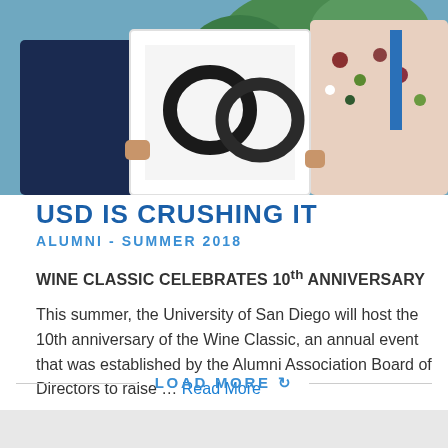[Figure (photo): People holding framed artwork at an outdoor event, including a woman in a floral top carrying a framed print and another person in a blue shirt]
USD IS CRUSHING IT
ALUMNI - SUMMER 2018
WINE CLASSIC CELEBRATES 10th ANNIVERSARY
This summer, the University of San Diego will host the 10th anniversary of the Wine Classic, an annual event that was established by the Alumni Association Board of Directors to raise … Read More
LOAD MORE ↻